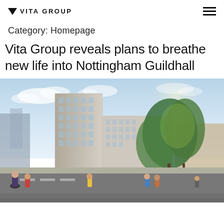VITA GROUP
Category: Homepage
Vita Group reveals plans to breathe new life into Nottingham Guildhall
[Figure (photo): Architectural rendering of a modern multi-storey building development near Nottingham Guildhall, with pedestrians walking in the foreground, trees lining the street, and a blue sky with clouds in the background.]